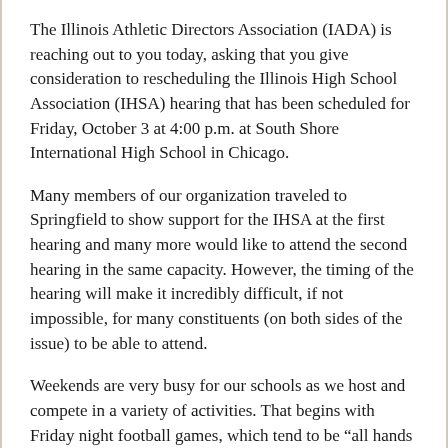The Illinois Athletic Directors Association (IADA) is reaching out to you today, asking that you give consideration to rescheduling the Illinois High School Association (IHSA) hearing that has been scheduled for Friday, October 3 at 4:00 p.m. at South Shore International High School in Chicago.
Many members of our organization traveled to Springfield to show support for the IHSA at the first hearing and many more would like to attend the second hearing in the same capacity. However, the timing of the hearing will make it incredibly difficult, if not impossible, for many constituents (on both sides of the issue) to be able to attend.
Weekends are very busy for our schools as we host and compete in a variety of activities. That begins with Friday night football games, which tend to be “all hands on deck” affairs for our coaches and staffs, who work the contests in a variety of roles. Additionally, many of our staff enjoy traveling to the games when our team is on the road or simply enjoy their time off. With many JV games kicking off by or before 5:00 p.m. and varsity by 7:00 p.m., we are left in a precarious position to choose between not providing support on an issue we feel very strongly about (supporting the IHSA) or being able to properly